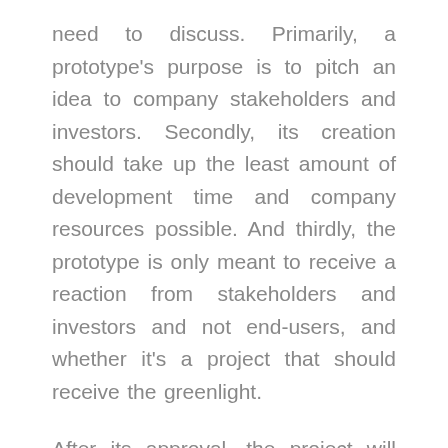need to discuss. Primarily, a prototype's purpose is to pitch an idea to company stakeholders and investors. Secondly, its creation should take up the least amount of development time and company resources possible. And thirdly, the prototype is only meant to receive a reaction from stakeholders and investors and not end-users, and whether it's a project that should receive the greenlight.
After its approval, the project will move past the prototyping phase as either an MVP or a full-fledged app. With the MVP,